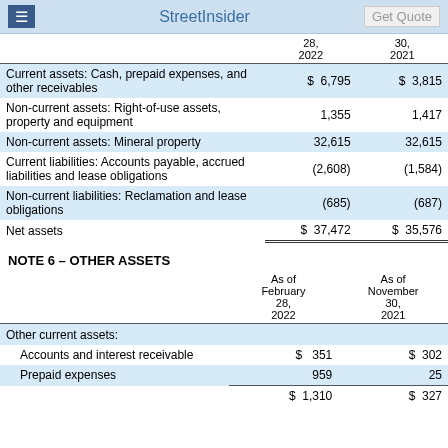StreetInsider  Get Quote
|  | 28, 2022 | 30, 2021 |
| --- | --- | --- |
| Current assets: Cash, prepaid expenses, and other receivables | $ 6,795 | $ 3,815 |
| Non-current assets: Right-of-use assets, property and equipment | 1,355 | 1,417 |
| Non-current assets: Mineral property | 32,615 | 32,615 |
| Current liabilities: Accounts payable, accrued liabilities and lease obligations | (2,608) | (1,584) |
| Non-current liabilities: Reclamation and lease obligations | (685) | (687) |
| Net assets | $ 37,472 | $ 35,576 |
NOTE 6 – OTHER ASSETS
|  | As of February 28, 2022 | As of November 30, 2021 |
| --- | --- | --- |
| Other current assets: |  |  |
| Accounts and interest receivable | $ 351 | $ 302 |
| Prepaid expenses | 959 | 25 |
|  | $ 1,310 | $ 327 |